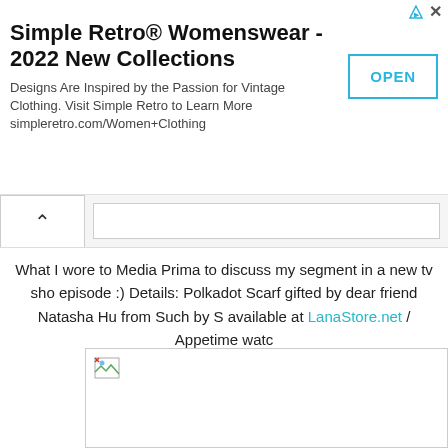[Figure (screenshot): Advertisement banner for Simple Retro Womenswear 2022 New Collections with OPEN button]
[Figure (screenshot): Browser navigation row with back chevron and address bar input]
What I wore to Media Prima to discuss my segment in a new tv show episode :) Details: Polkadot Scarf gifted by dear friend Natasha Hu from Such by S available at LanaStore.net / Appetime watch
[Figure (photo): Broken image placeholder (white rectangle with small broken image icon in top-left corner)]